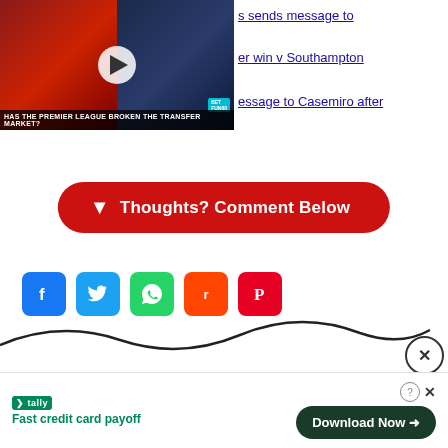[Figure (screenshot): Video thumbnail showing two football players — one holding a Manchester United jersey and another in a Newcastle strip. Play button overlay. Caption: 'Has The Premier League Broken The Transfer Market?']
sends message to
er win v Southampton
essage to Casemiro after
[Figure (other): Red rounded button with down arrow icon and text 'Thoughts? Comment Below']
[Figure (other): Social share icons: Facebook, Twitter, WhatsApp, Reddit, Pinterest]
[Figure (other): Squiggly decorative line with close X button]
[Figure (other): Tally advertisement banner: 'Fast credit card payoff' with Download Now button]